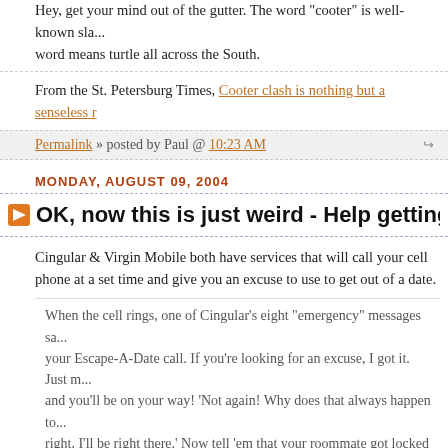Hey, get your mind out of the gutter. The word 'cooter' is well-known slang... word means turtle all across the South.
From the St. Petersburg Times, Cooter clash is nothing but a senseless r...
Permalink » posted by Paul @ 10:23 AM
MONDAY, AUGUST 09, 2004
OK, now this is just weird - Help getting out of a b...
Cingular & Virgin Mobile both have services that will call your cell phone at a set time and give you an excuse to use to get out of a date.
When the cell rings, one of Cingular's eight "emergency" messages sa... your Escape-A-Date call. If you're looking for an excuse, I got it. Just m... and you'll be on your way! 'Not again! Why does that always happen to... right, I'll be right there.' Now tell 'em that your roommate got locked ou... to go let them in. Good luck!"
And bingo, the bad date is history.
Bad Date? Use Your Cell Excuse from Wired.com